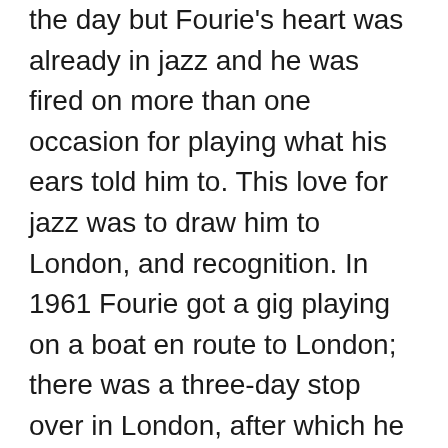the day but Fourie’s heart was already in jazz and he was fired on more than one occasion for playing what his ears told him to. This love for jazz was to draw him to London, and recognition. In 1961 Fourie got a gig playing on a boat en route to London; there was a three-day stop over in London, after which he flew back overland to Johannesburg. He says “What I saw in Soho forced me to leave in November on a boat destined for London with my wife a baby and about two hundred rand”

His first gig in London was with an Eastern European violinist who needed a guitar player for a